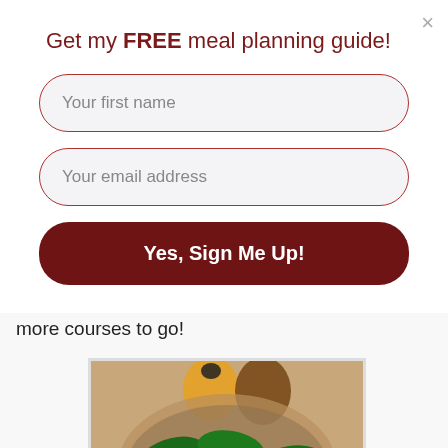Get my FREE meal planning guide!
Your first name
Your email address
Yes, Sign Me Up!
more courses to go!
[Figure (photo): A bowl of green spinach salad topped with strawberries and white feta cheese crumbles, with condiment bottles visible in the background on a wooden surface.]